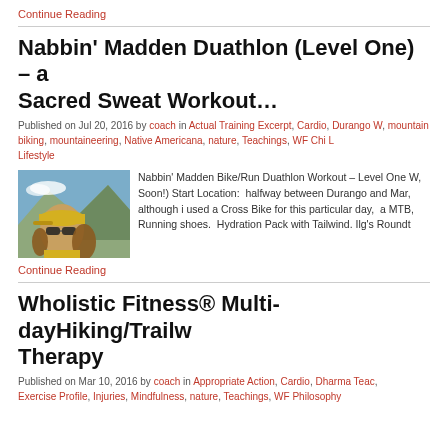Continue Reading
Nabbin' Madden Duathlon (Level One) – a Sacred Sweat Workout…
Published on Jul 20, 2016 by coach in Actual Training Excerpt, Cardio, Durango W, mountain biking, mountaineering, Native Americana, nature, Teachings, WF Chi L, Lifestyle
[Figure (photo): Close-up photo of a person wearing a yellow cap and sunglasses outdoors with mountains in background]
Nabbin' Madden Bike/Run Duathlon Workout – Level One W, Soon!) Start Location: halfway between Durango and Mar, although i used a Cross Bike for this particular day, a MTB, Running shoes. Hydration Pack with Tailwind. Ilg's Roundt
Continue Reading
Wholistic Fitness® Multi-dayHiking/Trailw Therapy
Published on Mar 10, 2016 by coach in Appropriate Action, Cardio, Dharma Teac, Exercise Profile, Injuries, Mindfulness, nature, Teachings, WF Philosophy